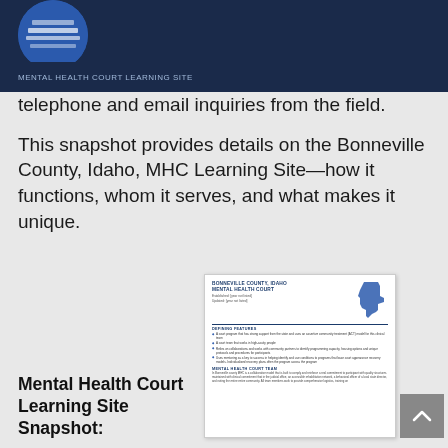Mental Health Court Learning Site Snapshot — telephone and email inquiries from the field.
telephone and email inquiries from the field.
This snapshot provides details on the Bonneville County, Idaho, MHC Learning Site—how it functions, whom it serves, and what makes it unique.
[Figure (illustration): Thumbnail preview of a document titled 'Bonneville County, Idaho Mental Health Court' with an outline map of Idaho and bullet-point sections listing services and court team information.]
Mental Health Court Learning Site Snapshot: